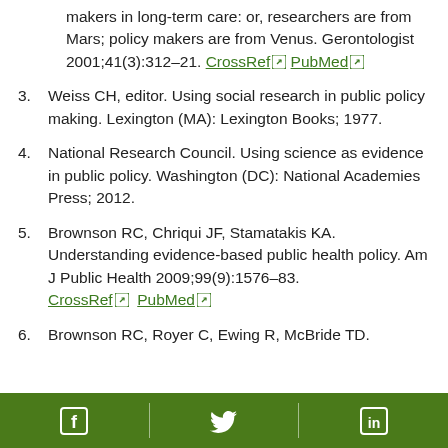(continued) makers in long-term care: or, researchers are from Mars; policy makers are from Venus. Gerontologist 2001;41(3):312–21. CrossRef PubMed
3. Weiss CH, editor. Using social research in public policy making. Lexington (MA): Lexington Books; 1977.
4. National Research Council. Using science as evidence in public policy. Washington (DC): National Academies Press; 2012.
5. Brownson RC, Chriqui JF, Stamatakis KA. Understanding evidence-based public health policy. Am J Public Health 2009;99(9):1576–83. CrossRef PubMed
6. Brownson RC, Royer C, Ewing R, McBride TD.
Facebook | Twitter | LinkedIn